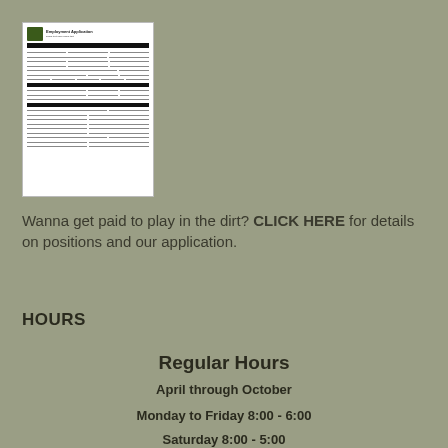[Figure (other): Thumbnail image of an employment application form with a logo and multiple form fields]
Wanna get paid to play in the dirt? CLICK HERE for details on positions and our application.
HOURS
Regular Hours
April through October
Monday to Friday 8:00 - 6:00
Saturday 8:00 - 5:00